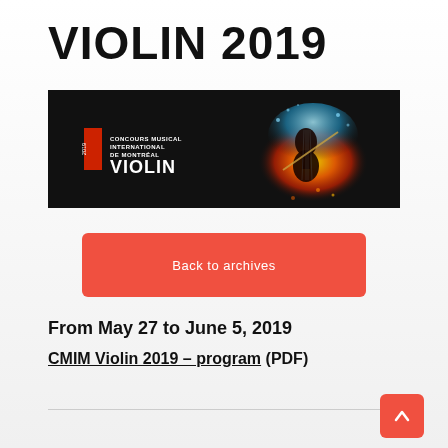VIOLIN 2019
[Figure (photo): Banner image for CMIM Violin 2019: dark background with text 'Concours Musical International de Montréal VIOLIN' in white with a red rectangle accent, and a dramatic image of a violin surrounded by fire and water splash.]
Back to archives
From May 27 to June 5, 2019
CMIM Violin 2019 – program (PDF)